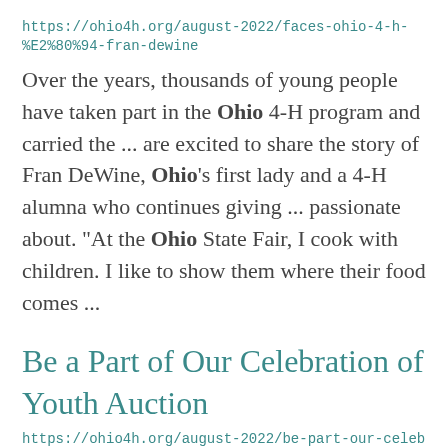https://ohio4h.org/august-2022/faces-ohio-4-h-%E2%80%94-fran-dewine
Over the years, thousands of young people have taken part in the Ohio 4-H program and carried the ... are excited to share the story of Fran DeWine, Ohio's first lady and a 4-H alumna who continues giving ... passionate about. "At the Ohio State Fair, I cook with children. I like to show them where their food comes ...
Be a Part of Our Celebration of Youth Auction
https://ohio4h.org/august-2022/be-part-our-celebration-youth-auction